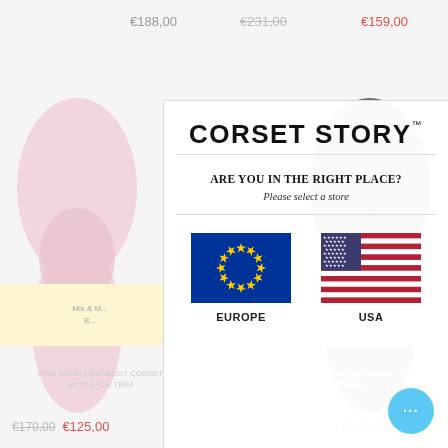€188,00
€231,00
€159,00
[Figure (screenshot): Corset Story website screenshot showing a region selection modal with EU and USA flag options, overlaid on product images of pink and black corsets]
CORSET STORY™
ARE YOU IN THE RIGHT PLACE?
Please select a store
EUROPE
USA
PINK SATIN OVERBUST CORSET WITH LACE TRIM
BLACK MESH STEEL BONED UNDERBUST...
€170,00
€125,00
€199,50